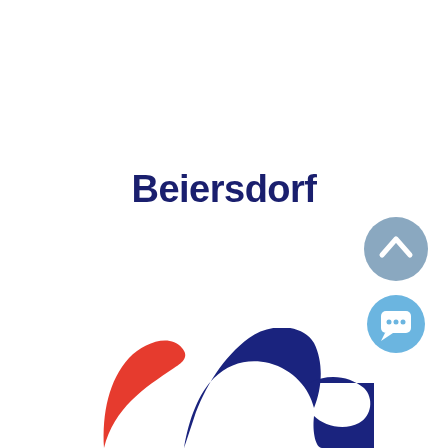Beiersdorf
[Figure (logo): Beiersdorf logo mark — partial view of the stylized bird/swoosh logo in red, dark blue, and white at the bottom of the page]
[Figure (illustration): Two circular UI buttons on the right side: a grey/blue circle with an upward chevron arrow, and a lighter blue circle with a speech bubble/chat icon]